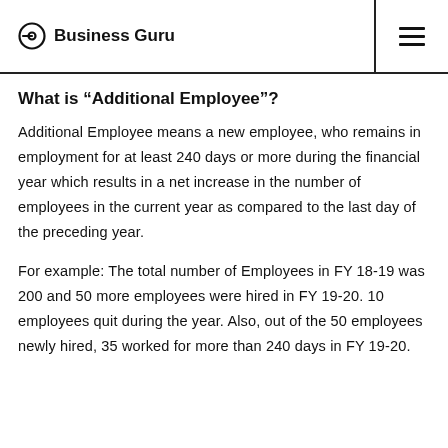Business Guru
What is “Additional Employee”?
Additional Employee means a new employee, who remains in employment for at least 240 days or more during the financial year which results in a net increase in the number of employees in the current year as compared to the last day of the preceding year.
For example: The total number of Employees in FY 18-19 was 200 and 50 more employees were hired in FY 19-20. 10 employees quit during the year. Also, out of the 50 employees newly hired, 35 worked for more than 240 days in FY 19-20.